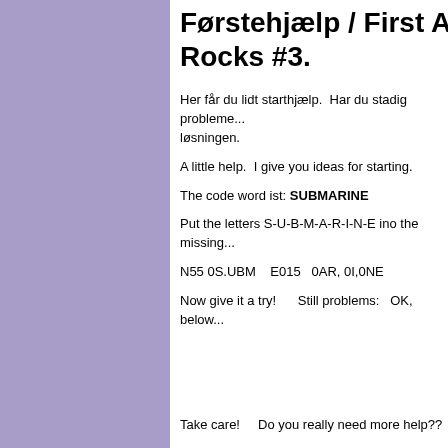Førstehjælp / First Aid to Rocks #3.
Her får du lidt starthjælp.  Har du stadig probleme... løsningen.
A little help.  I give you ideas for starting.
The code word ist: SUBMARINE
Put the letters S-U-B-M-A-R-I-N-E ino the missing...
N55 0S.UBM    E015   0AR, 0I,0NE
Now give it a try!       Still problems:   OK,  below...
Take care!      Do you really need more help??